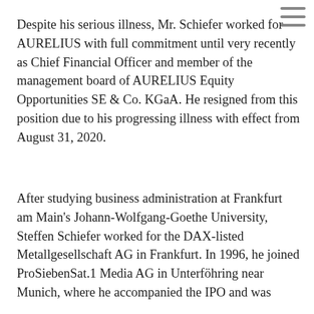Despite his serious illness, Mr. Schiefer worked for AURELIUS with full commitment until very recently as Chief Financial Officer and member of the management board of AURELIUS Equity Opportunities SE & Co. KGaA. He resigned from this position due to his progressing illness with effect from August 31, 2020.
After studying business administration at Frankfurt am Main's Johann-Wolfgang-Goethe University, Steffen Schiefer worked for the DAX-listed Metallgesellschaft AG in Frankfurt. In 1996, he joined ProSiebenSat.1 Media AG in Unterföhring near Munich, where he accompanied the IPO and was